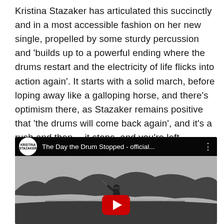Kristina Stazaker has articulated this succinctly and in a most accessible fashion on her new single, propelled by some sturdy percussion and 'builds up to a powerful ending where the drums restart and the electricity of life flicks into action again'. It starts with a solid march, before loping away like a galloping horse, and there's optimism there, as Stazaker remains positive that 'the drums will come back again', and it's a rush and then… it stops, and you're left, vaguely nonplussed, wishing there was more. Which seems like life, really. Cracking single, though.
[Figure (screenshot): Embedded YouTube video thumbnail showing 'The Day the Drum Stopped - official...' by Kristina Stazaker. Black and white image of a person swinging a golf club by a lake with trees in the background. YouTube play button visible in the center.]